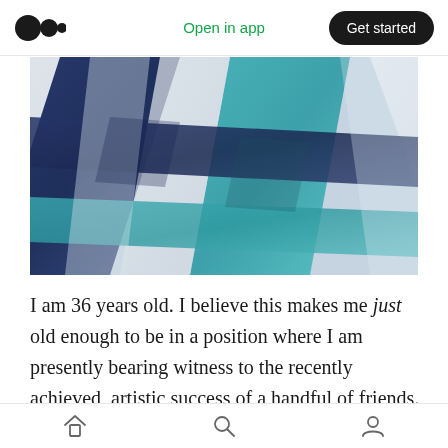Medium logo | Open in app | Get started
[Figure (photo): Close-up photo of woven ceramic or glazed ribbons in white, navy blue, and teal/turquoise colors, arranged in a diagonal basket-weave pattern.]
I am 36 years old. I believe this makes me just old enough to be in a position where I am presently bearing witness to the recently achieved, artistic success of a handful of friends. I believe I am witnessing what I am witnessing among these select colleagues because it takes roughly ten years to really make it, and so those colleagues of
Home | Search | Profile